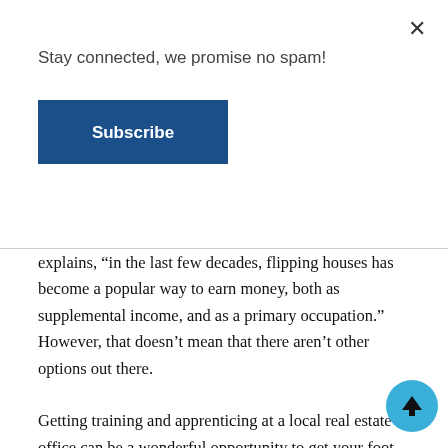Stay connected, we promise no spam!
Subscribe
explains, “in the last few decades, flipping houses has become a popular way to earn money, both as supplemental income, and as a primary occupation.” However, that doesn’t mean that there aren’t other options out there.
Getting training and apprenticing at a local real estate office can be a wonderful opportunity to get your foot in the door of the industry. You could also contact commercial investors and real estate experts and see if they will allow you to shadow them for a couple hours up to a couple days. This is